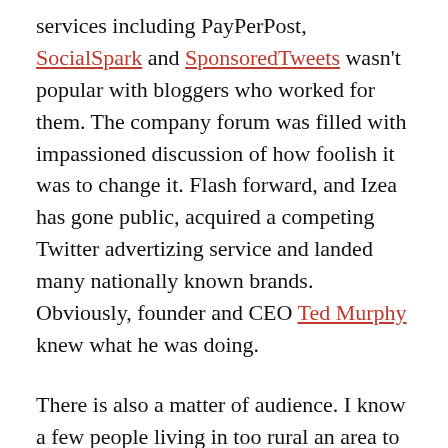services including PayPerPost, SocialSpark and SponsoredTweets wasn't popular with bloggers who worked for them. The company forum was filled with impassioned discussion of how foolish it was to change it. Flash forward, and Izea has gone public, acquired a competing Twitter advertizing service and landed many nationally known brands. Obviously, founder and CEO Ted Murphy knew what he was doing.
There is also a matter of audience. I know a few people living in too rural an area to benefit from streaming service who how don't want to pay for service they cannot use. I hope they sign up under the Qwikster brand. It's a great service, better than video stores or Redbox, but